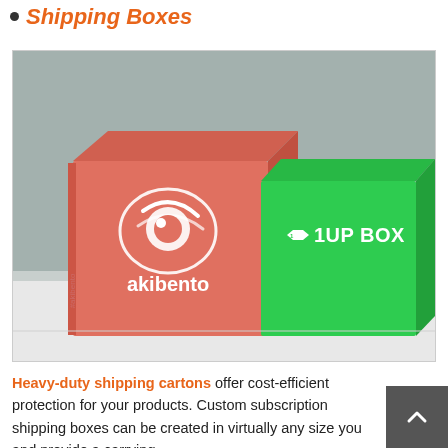Shipping Boxes
[Figure (photo): Two branded subscription shipping boxes on a white surface against a grey background. Left box is salmon/pink colored with white 'akibento' logo and swoosh design. Right box is bright green with white '1UP BOX' logo with controller icon.]
Heavy-duty shipping cartons offer cost-efficient protection for your products. Custom subscription shipping boxes can be created in virtually any size you and provide a carrying